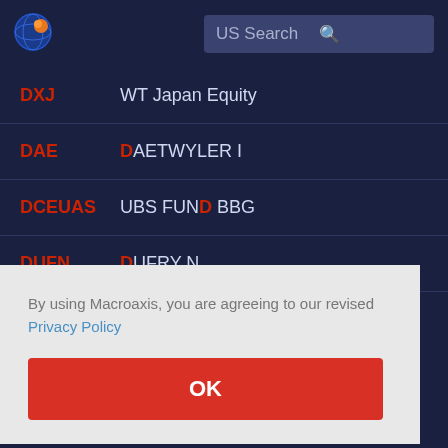[Figure (logo): Macroaxis globe logo - blue and orange circular icon]
US Search
| Ticker | Name |
| --- | --- |
| DXJ | WT Japan Equity |
| DAE | DAETWYLER I |
| DCEUAS | UBS FUND BBG |
| DUFN | DUFRY N |
| DOKA | Dormakaba N |
By using Macroaxis, you are agreeing to our revised Privacy Policy
OK